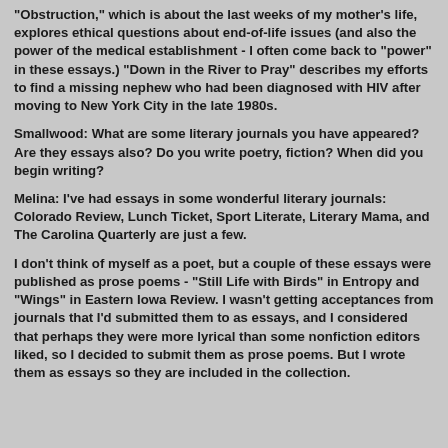"Obstruction," which is about the last weeks of my mother's life, explores ethical questions about end-of-life issues (and also the power of the medical establishment - I often come back to "power" in these essays.) "Down in the River to Pray" describes my efforts to find a missing nephew who had been diagnosed with HIV after moving to New York City in the late 1980s.
Smallwood: What are some literary journals you have appeared? Are they essays also? Do you write poetry, fiction? When did you begin writing?
Melina: I've had essays in some wonderful literary journals: Colorado Review, Lunch Ticket, Sport Literate, Literary Mama, and The Carolina Quarterly are just a few.
I don't think of myself as a poet, but a couple of these essays were published as prose poems - "Still Life with Birds" in Entropy and "Wings" in Eastern Iowa Review. I wasn't getting acceptances from journals that I'd submitted them to as essays, and I considered that perhaps they were more lyrical than some nonfiction editors liked, so I decided to submit them as prose poems. But I wrote them as essays so they are included in the collection.